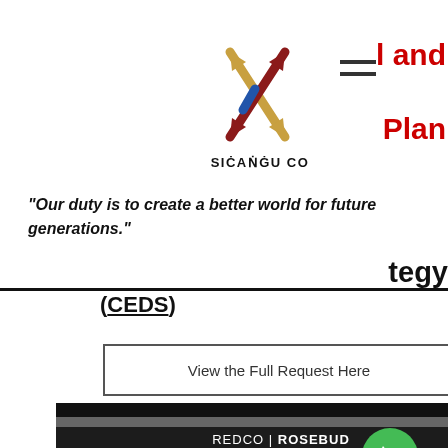[Figure (logo): Sicangu Co logo with crossed arrows in gold and red/blue, with SIĊAṄĠU CO text below]
and
Plan
"Our duty is to create a better world for future generations."
tegy
(CEDS)
View the Full Request Here
REDCO | ROSEBUD ECONOMIC DEVELOPMENT CORPORATION
Rapid City Office
405 Canal St. Ste. #2500
Rapid City, SD 57701